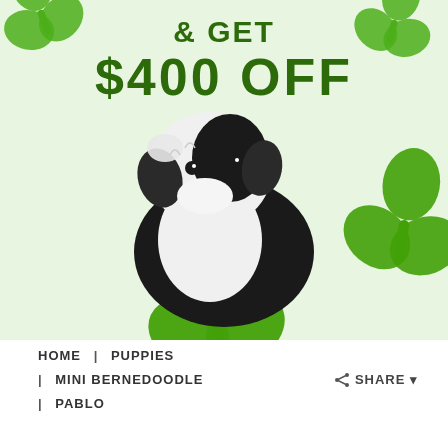[Figure (photo): Promotional St. Patrick's Day puppy advertisement showing a black and white Mini Bernedoodle puppy surrounded by green shamrocks on a light green background, with text '& GET $400 OFF']
HOME  |  PUPPIES
|  MINI BERNEDOODLE
SHARE
|  PABLO